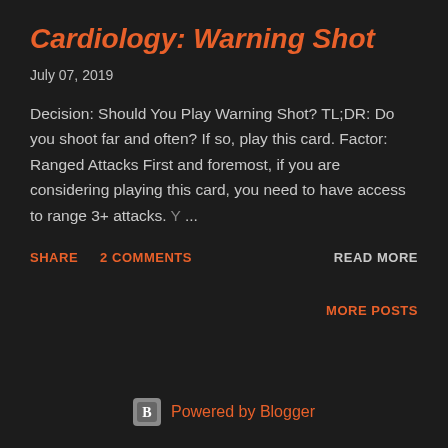Cardiology: Warning Shot
July 07, 2019
Decision: Should You Play Warning Shot? TL;DR: Do you shoot far and often?  If so, play this card.  Factor: Ranged Attacks First and foremost, if you are considering playing this card, you need to have access to range 3+ attacks. Y ...
SHARE   2 COMMENTS   READ MORE
MORE POSTS
Powered by Blogger